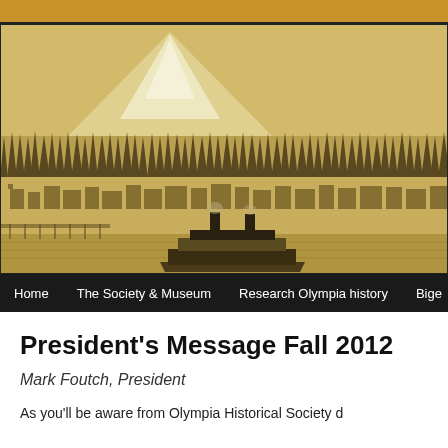[Figure (illustration): Sepia-toned historical panoramic illustration of Olympia, Washington, showing a snow-capped mountain (likely Mount Rainier) in the background, a dense treeline, the town of Olympia with historic buildings, and a steamboat on the water in the foreground.]
Home   The Society & Museum   Research Olympia history   Bige
President's Message Fall 2012
Mark Foutch, President
As you'll be aware from Olympia Historical Society d